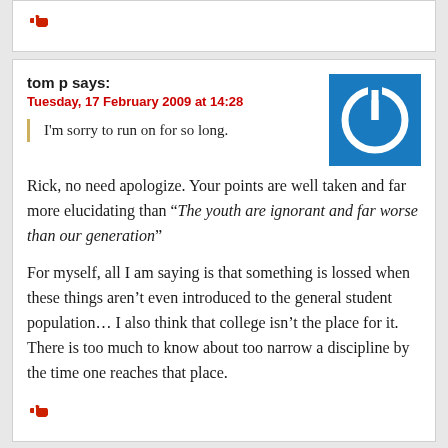[Figure (other): Thumbs up icon at top of page]
tom p says:
Tuesday, 17 February 2009 at 14:28
[Figure (logo): Blue square with white power button icon - user avatar]
I'm sorry to run on for so long.
Rick, no need apologize. Your points are well taken and far more elucidating than “The youth are ignorant and far worse than our generation”
For myself, all I am saying is that something is lossed when these things aren’t even introduced to the general student population… I also think that college isn’t the place for it. There is too much to know about too narrow a discipline by the time one reaches that place.
[Figure (other): Thumbs up icon at bottom of comment]